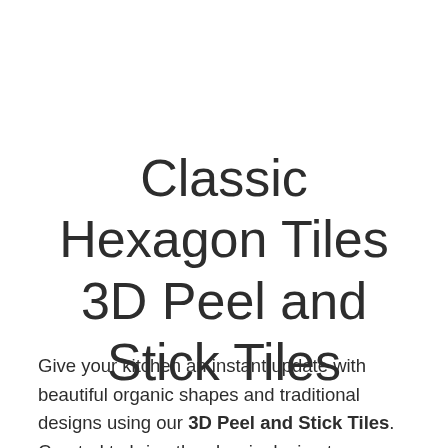Classic Hexagon Tiles 3D Peel and Stick Tiles
Give your kitchen an instant update with beautiful organic shapes and traditional designs using our 3D Peel and Stick Tiles. Created to bring the classic design to your home, the White Hexagon peel and